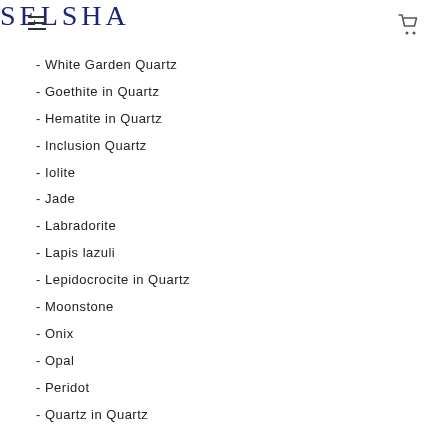SELSHA
- White Garden Quartz
- Goethite in Quartz
- Hematite in Quartz
- Inclusion Quartz
- Iolite
- Jade
- Labradorite
- Lapis lazuli
- Lepidocrocite in Quartz
- Moonstone
- Onix
- Opal
- Peridot
- Quartz in Quartz